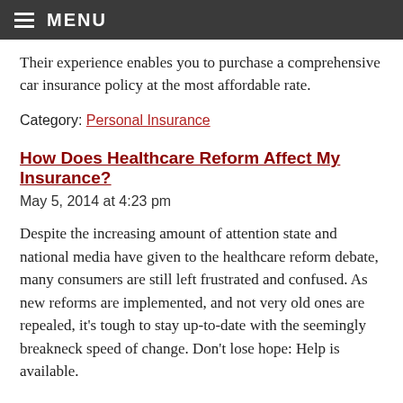MENU
Their experience enables you to purchase a comprehensive car insurance policy at the most affordable rate.
Category: Personal Insurance
How Does Healthcare Reform Affect My Insurance?
May 5, 2014 at 4:23 pm
Despite the increasing amount of attention state and national media have given to the healthcare reform debate, many consumers are still left frustrated and confused. As new reforms are implemented, and not very old ones are repealed, it's tough to stay up-to-date with the seemingly breakneck speed of change. Don't lose hope: Help is available.
The major changes the Affordable Care Act has ushered in are recognized by most. Starting in 2014, the vast majority of residents are now required to carry some form of health insurance under the ACA. Insurance companies are no longer allowed to deny coverage because of pre-existing conditions, and